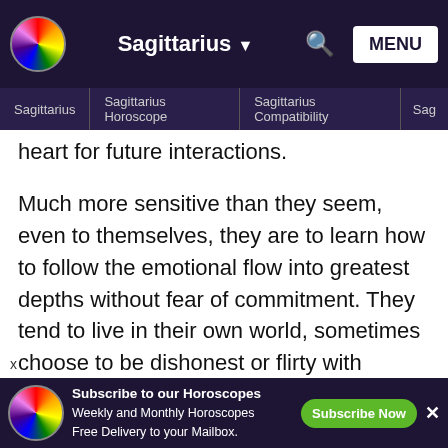Sagittarius MENU
Sagittarius | Sagittarius Horoscope | Sagittarius Compatibility | Sag...
heart for future interactions.
Much more sensitive than they seem, even to themselves, they are to learn how to follow the emotional flow into greatest depths without fear of commitment. They tend to live in their own world, sometimes choose to be dishonest or flirty with people who don't really interest them, and need some balance and focus in their love life to see its connection to the mission they are meant to embark on. To find grand love, they are to find it in personal contacts first, and
[Figure (screenshot): Advertisement banner: Subscribe to our Horoscopes Weekly and Monthly Horoscopes Free Delivery to your Mailbox. Subscribe Now button.]